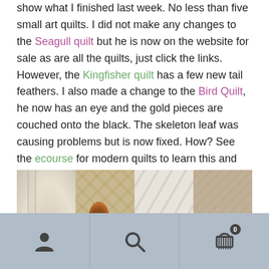show what I finished last week. No less than five small art quilts. I did not make any changes to the Seagull quilt but he is now on the website for sale as are all the quilts, just click the links. However, the Kingfisher quilt has a few new tail feathers. I also made a change to the Bird Quilt, he now has an eye and the gold pieces are couched onto the black. The skeleton leaf was causing problems but is now fixed. How? See the ecourse for modern quilts to learn this and many more techniques.
[Figure (photo): Four quilts shown side by side: a cream/beige quilt with a bird shape, a golden-brown quilt with a knot pattern, a white/grey diagonal-weave quilt with a small bird, and a beige/brown patchwork quilt.]
Navigation bar with person icon, search icon, and cart icon with badge 0